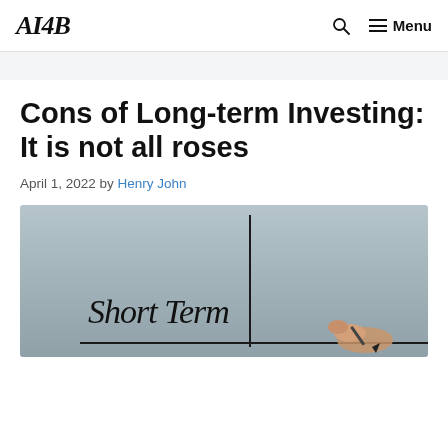AI4B | Menu
Cons of Long-term Investing: It is not all roses
April 1, 2022 by Henry John
[Figure (photo): A person writing 'Short Term' in cursive on a transparent surface with a marker, with a vertical line dividing the surface, against a light grey background.]